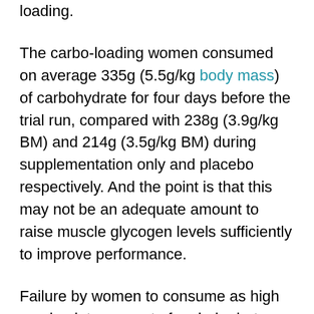loading.
The carbo-loading women consumed on average 335g (5.5g/kg body mass) of carbohydrate for four days before the trial run, compared with 238g (3.9g/kg BM) and 214g (3.5g/kg BM) during supplementation only and placebo respectively. And the point is that this may not be an adequate amount to raise muscle glycogen levels sufficiently to improve performance.
Failure by women to consume as high an absolute amount of carbohydrate as men has been put forward as one of the reasons why women do not manage to improve their performance by means of carbo-loading. Previous studies on carbo-loading have shown that carbohydrate intake accounts and